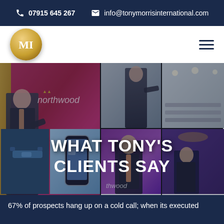📞 07915 645 267   ✉ info@tonymorrisinternational.com
[Figure (logo): MI Tony Morris International gold circular logo]
[Figure (photo): Collage of Tony Morris speaking at events including Northwood conference, audience shots, and individual speaking photos with overlay text WHAT TONY'S CLIENTS SAY]
WHAT TONY'S CLIENTS SAY
67% of prospects hang up on a cold call; when its executed